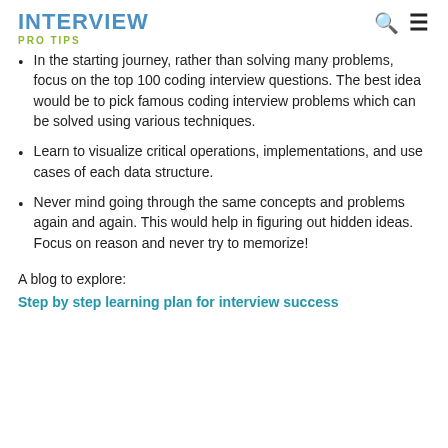INTERVIEW PRO TIPS
In the starting journey, rather than solving many problems, focus on the top 100 coding interview questions. The best idea would be to pick famous coding interview problems which can be solved using various techniques.
Learn to visualize critical operations, implementations, and use cases of each data structure.
Never mind going through the same concepts and problems again and again. This would help in figuring out hidden ideas. Focus on reason and never try to memorize!
A blog to explore:
Step by step learning plan for interview success